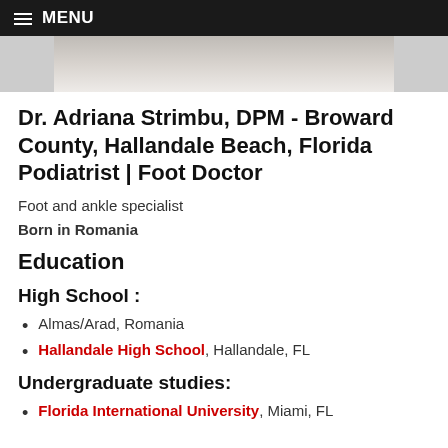MENU
[Figure (photo): Partial photo of Dr. Adriana Strimbu, showing upper body in white coat, cropped at top of page]
Dr. Adriana Strimbu, DPM - Broward County, Hallandale Beach, Florida Podiatrist | Foot Doctor
Foot and ankle specialist
Born in Romania
Education
High School :
Almas/Arad, Romania
Hallandale High School, Hallandale, FL
Undergraduate studies:
Florida International University, Miami, FL